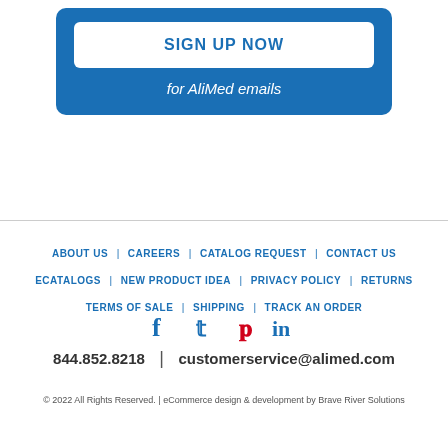[Figure (other): Sign up now button for AliMed emails in a blue rounded box]
ABOUT US | CAREERS | CATALOG REQUEST | CONTACT US | ECATALOGS | NEW PRODUCT IDEA | PRIVACY POLICY | RETURNS | TERMS OF SALE | SHIPPING | TRACK AN ORDER
[Figure (other): Social media icons: Facebook, Twitter, Pinterest, LinkedIn]
844.852.8218 | customerservice@alimed.com
© 2022 All Rights Reserved. | eCommerce design & development by Brave River Solutions